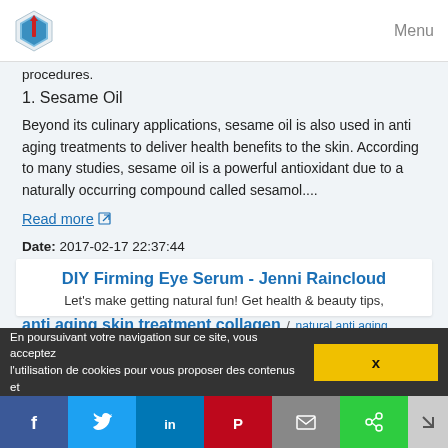Menu
procedures.
1. Sesame Oil
Beyond its culinary applications, sesame oil is also used in anti aging treatments to deliver health benefits to the skin. According to many studies, sesame oil is a powerful antioxidant due to a naturally occurring compound called sesamol....
Read more
Date: 2017-02-17 22:37:44
Website: http://www.healthyandnaturalworld.com
Related topics : wrinkle anti aging treatments skin care / anti aging skin treatment collagen / natural anti aging treatments for hands / anti aging skin treatment home remedies / anti aging treatments wrinkles
DIY Firming Eye Serum - Jenni Raincloud
Let's make getting natural fun! Get health & beauty tips,
En poursuivant votre navigation sur ce site, vous acceptez l'utilisation de cookies pour vous proposer des contenus et
x